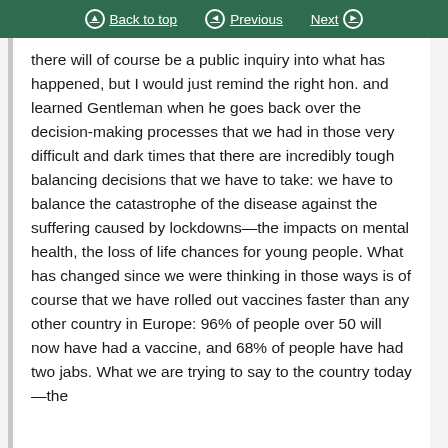Back to top  Previous  Next
there will of course be a public inquiry into what has happened, but I would just remind the right hon. and learned Gentleman when he goes back over the decision-making processes that we had in those very difficult and dark times that there are incredibly tough balancing decisions that we have to take: we have to balance the catastrophe of the disease against the suffering caused by lockdowns—the impacts on mental health, the loss of life chances for young people. What has changed since we were thinking in those ways is of course that we have rolled out vaccines faster than any other country in Europe: 96% of people over 50 will now have had a vaccine, and 68% of people have had two jabs. What we are trying to say to the country today—the